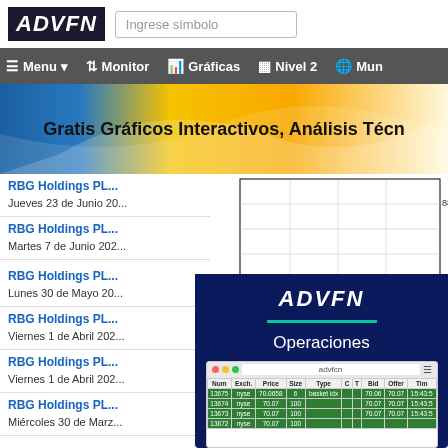[Figure (logo): ADVFN logo with search bar - website header]
Menu · Monitor · Gráficas · Nivel 2 · Mun
[Figure (screenshot): ADVFN banner: Gratis Gráficos Interactivos, Análisis Técn...]
RBG Holdings PL... / Jueves 23 de Junio 20...
RBG Holdings PL... / Martes 7 de Junio 202...
[Figure (line-chart): Price chart showing RBG Holdings PLC intraday, x-axis: 0300, 0500, 0700, 0900; y-axis: 88; © www.advfn.com]
RBG Holdings PL... / Lunes 30 de Mayo 20...
RBG Holdings PL... / Viernes 1 de Abril 202...
[Figure (screenshot): ADVFN app popup overlay showing ADVFN logo, Operaciones section, and a trade data table with columns Num, Exch, Price, Size, Type, C, T, Bid, Offer, Tim with green rows showing trades for NYSE at prices around 70.06-70.07]
RBG Holdings PL... / Viernes 1 de Abril 202...
RBG Holdings PL... / Miércoles 30 de Marz...